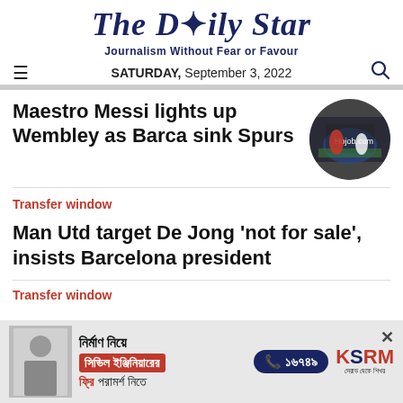The Daily Star
Journalism Without Fear or Favour
SATURDAY, September 3, 2022
Maestro Messi lights up Wembley as Barca sink Spurs
Transfer window
Man Utd target De Jong 'not for sale', insists Barcelona president
Transfer window
[Figure (infographic): Advertisement banner: KSRM civil engineering consultation ad in Bengali script, phone number 16749]